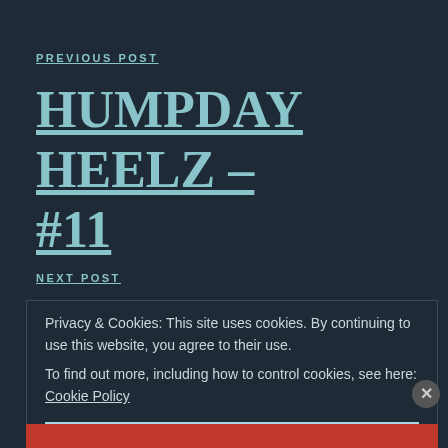PREVIOUS POST
HUMPDAY HEELZ – #11
NEXT POST
Privacy & Cookies: This site uses cookies. By continuing to use this website, you agree to their use.
To find out more, including how to control cookies, see here: Cookie Policy
Close and accept